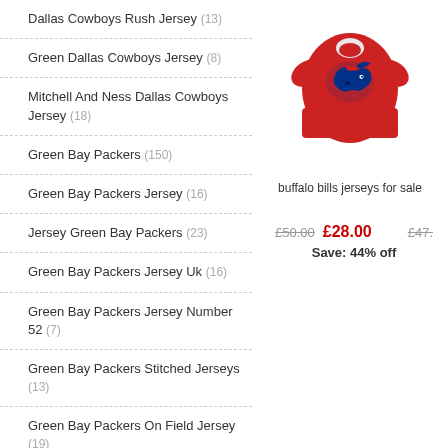Dallas Cowboys Rush Jersey (13)
Green Dallas Cowboys Jersey (8)
Mitchell And Ness Dallas Cowboys Jersey (18)
Green Bay Packers (150)
Green Bay Packers Jersey (16)
Jersey Green Bay Packers (23)
Green Bay Packers Jersey Uk (16)
Green Bay Packers Jersey Number 52 (7)
Green Bay Packers Stitched Jerseys (13)
Green Bay Packers On Field Jersey (19)
Green Bay Packers Throwback Jersey (2)
Green Bay Packers Aaron Rodgers Jersey (15)
Green Bay Packers Jersey 2020 (15)
[Figure (photo): Red Buffalo Bills t-shirt with blue Bills logo on front]
buffalo bills jerseys for sale
£50.00  £28.00  Save: 44% off  £47...